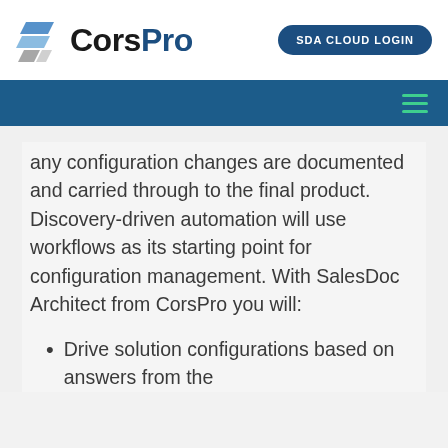CorsPro | SDA CLOUD LOGIN
any configuration changes are documented and carried through to the final product. Discovery-driven automation will use workflows as its starting point for configuration management. With SalesDoc Architect from CorsPro you will:
Drive solution configurations based on answers from the